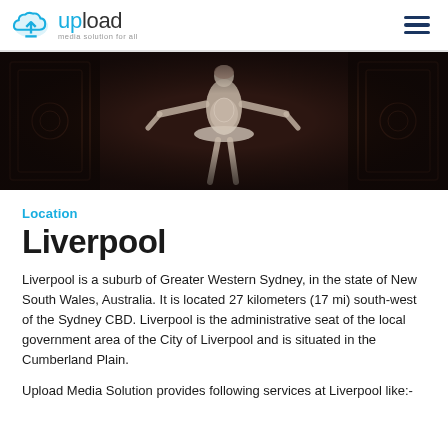upload media solution for all
[Figure (photo): A ballet dancer in a white costume performing on a dark stage with ornate background.]
Location
Liverpool
Liverpool is a suburb of Greater Western Sydney, in the state of New South Wales, Australia. It is located 27 kilometers (17 mi) south-west of the Sydney CBD. Liverpool is the administrative seat of the local government area of the City of Liverpool and is situated in the Cumberland Plain.
Upload Media Solution provides following services at Liverpool like:-